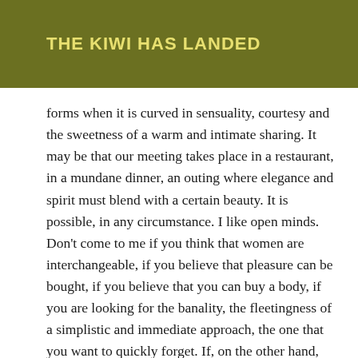THE KIWI HAS LANDED
forms when it is curved in sensuality, courtesy and the sweetness of a warm and intimate sharing. It may be that our meeting takes place in a restaurant, in a mundane dinner, an outing where elegance and spirit must blend with a certain beauty. It is possible, in any circumstance. I like open minds. Don't come to me if you think that women are interchangeable, if you believe that pleasure can be bought, if you believe that you can buy a body, if you are looking for the banality, the fleetingness of a simplistic and immediate approach, the one that you want to quickly forget. If, on the other hand, you see things from a different perspective, more open, more elegant, then call me. Sharing and complicity are very important to me. I may be interested in this and may come and meet you. Anything is possible. I can travel to many places if the game is worth the pleasure. Based in Haute-Savoie and Geneva region. No information via sms or message that is intimate. Take a